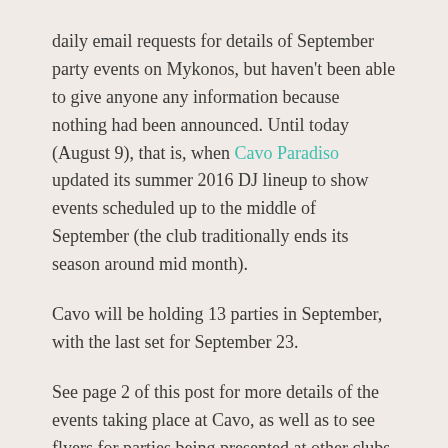daily email requests for details of September party events on Mykonos, but haven't been able to give anyone any information because nothing had been announced. Until today (August 9), that is, when Cavo Paradiso updated its summer 2016 DJ lineup to show events scheduled up to the middle of September (the club traditionally ends its season around mid month).
Cavo will be holding 13 parties in September, with the last set for September 23.
See page 2 of this post for more details of the events taking place at Cavo, as well as to see flyers for parties being presented at other clubs and bars.